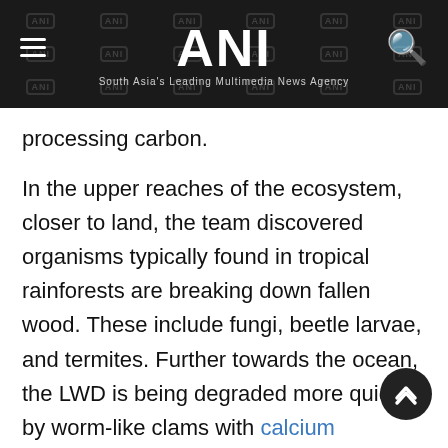ANI — South Asia's Leading Multimedia News Agency
processing carbon.
In the upper reaches of the ecosystem, closer to land, the team discovered organisms typically found in tropical rainforests are breaking down fallen wood. These include fungi, beetle larvae, and termites. Further towards the ocean, the LWD is being degraded more quickly by worm-like clams with calcium carbonate shells, known as shipworms.